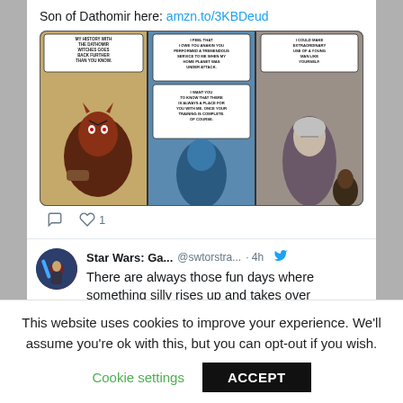Son of Dathomir here: amzn.to/3KBDeud
[Figure (illustration): Three-panel comic strip showing Star Wars characters including Darth Maul and Count Dooku with speech bubbles]
1 like
Star Wars: Ga... @swtorstra... · 4h
There are always those fun days where something silly rises up and takes over
This website uses cookies to improve your experience. We'll assume you're ok with this, but you can opt-out if you wish.
Cookie settings
ACCEPT